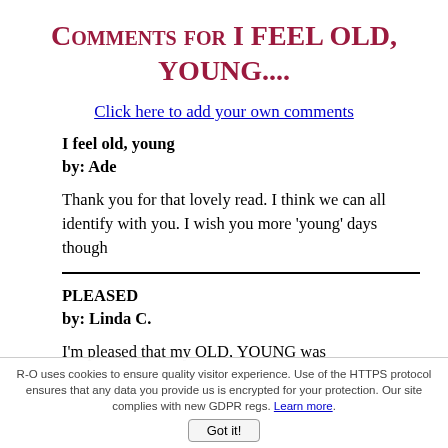Comments for I FEEL OLD, YOUNG....
Click here to add your own comments
I feel old, young
by: Ade
Thank you for that lovely read. I think we can all identify with you. I wish you more 'young' days though
PLEASED
by: Linda C.
I'm pleased that my OLD, YOUNG was
R-O uses cookies to ensure quality visitor experience. Use of the HTTPS protocol ensures that any data you provide us is encrypted for your protection. Our site complies with new GDPR regs. Learn more.